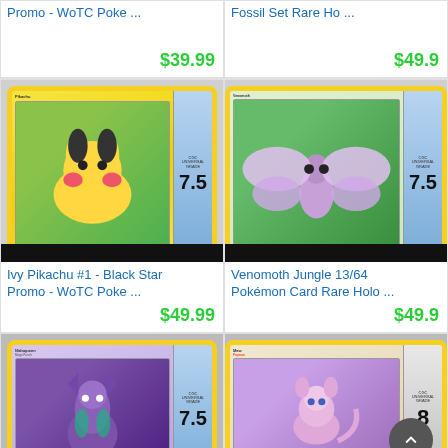Promo - WoTC Poke ...
$39.99
Fossil Set Rare Ho ...
$49.9...
[Figure (photo): CGC graded Pokemon card - Ivy Pikachu #1 Black Star Promo, grade 7.5]
Ivy Pikachu #1 - Black Star Promo - WoTC Poke ...
$49.99
[Figure (photo): CGC graded Pokemon card - Venomoth Jungle 13/64 Rare Holo, grade 7.5]
Venomoth Jungle 13/64 Pokémon Card Rare Holo ...
$49.9...
[Figure (photo): CGC graded Pokemon card - Nidoqueen, grade 7.5]
[Figure (photo): CGC graded Pokemon card - Mew, grade 8]